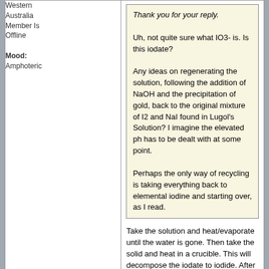Western Australia Member Is Offline
Mood: Amphoteric
Thank you for your reply.

Uh, not quite sure what IO3- is. Is this iodate?

Any ideas on regenerating the solution, following the addition of NaOH and the precipitation of gold, back to the original mixture of I2 and NaI found in Lugol's Solution? I imagine the elevated ph has to be dealt with at some point.

Perhaps the only way of recycling is taking everything back to elemental iodine and starting over, as I read.
Take the solution and heat/evaporate until the water is gone. Then take the solid and heat in a crucible. This will decompose the iodate to iodide. After that, dissolve some iodide in water (not all of it) and react with H2SO4 or acidified H2O2. This will produce iodine. Dissolve your remaining iodide in water and start adding iodine until no more can dissolve, or until all of it is used up. This will regenerate your Lugol's solution, although I would just buy a new bottle.
Traveller
Hazard to Self
posted on 12-10-2012 at 21:42